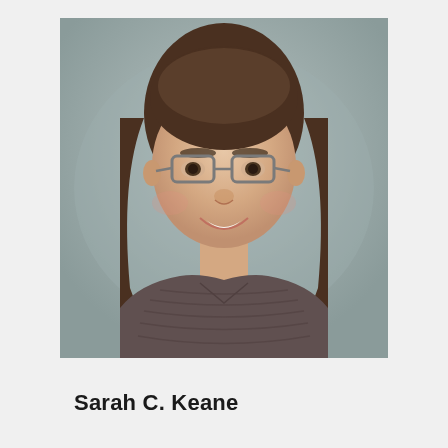[Figure (photo): Professional headshot of Sarah C. Keane, a woman with shoulder-length brown hair, wearing glasses and a grey textured blouse, smiling, against a grey background.]
Sarah C. Keane